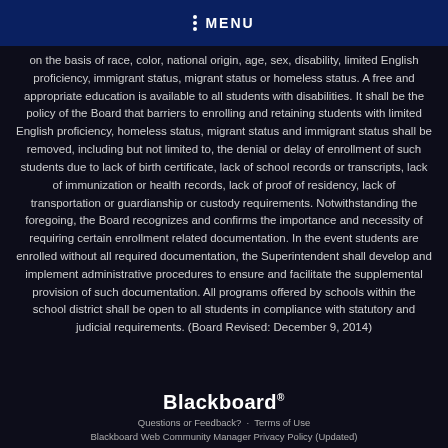MENU
on the basis of race, color, national origin, age, sex, disability, limited English proficiency, immigrant status, migrant status or homeless status. A free and appropriate education is available to all students with disabilities. It shall be the policy of the Board that barriers to enrolling and retaining students with limited English proficiency, homeless status, migrant status and immigrant status shall be removed, including but not limited to, the denial or delay of enrollment of such students due to lack of birth certificate, lack of school records or transcripts, lack of immunization or health records, lack of proof of residency, lack of transportation or guardianship or custody requirements. Notwithstanding the foregoing, the Board recognizes and confirms the importance and necessity of requiring certain enrollment related documentation. In the event students are enrolled without all required documentation, the Superintendent shall develop and implement administrative procedures to ensure and facilitate the supplemental provision of such documentation. All programs offered by schools within the school district shall be open to all students in compliance with statutory and judicial requirements. (Board Revised: December 9, 2014)
Blackboard
Questions or Feedback? · Terms of Use
Blackboard Web Community Manager Privacy Policy (Updated)